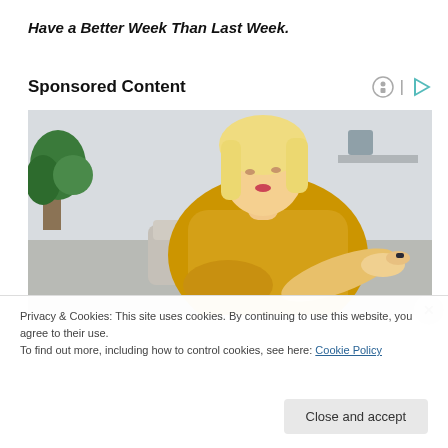Have a Better Week Than Last Week.
Sponsored Content
[Figure (photo): Woman with blonde hair wearing a yellow knit sweater, looking down at her arm/wrist area, sitting indoors with plants and a couch in background]
Privacy & Cookies: This site uses cookies. By continuing to use this website, you agree to their use.
To find out more, including how to control cookies, see here: Cookie Policy
Close and accept